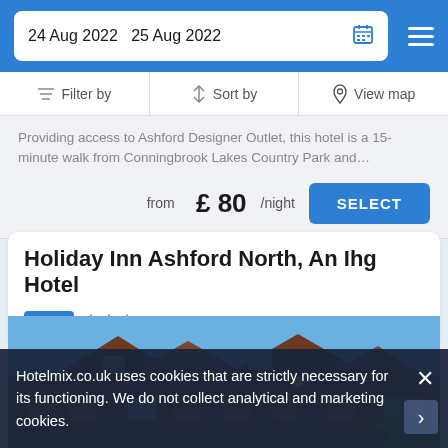24 Aug 2022  25 Aug 2022
Filter by  Sort by  View map
Providing access to Ashford Designer Outlet, this hotel is a 15-minute walk from Conningbrook Lakes Country Park and…
from £ 80/night
SELECT
Holiday Inn Ashford North, An Ihg Hotel
Hotel ★★★
[Figure (photo): Exterior photo of Holiday Inn Ashford North hotel building with brown roof tiles and blue sky]
Hotelmix.co.uk uses cookies that are strictly necessary for its functioning. We do not collect analytical and marketing cookies.